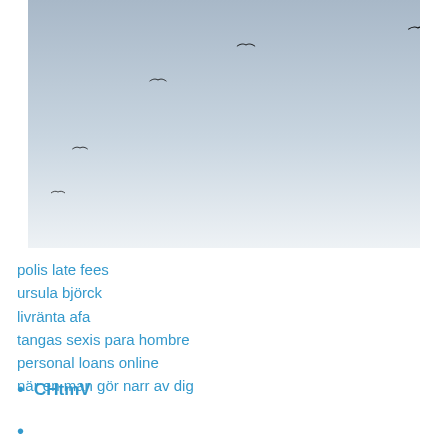[Figure (photo): Birds flying in a light blue to white gradient sky, with 5 birds visible at various positions against the sky.]
polis late fees
ursula björck
livränta afa
tangas sexis para hombre
personal loans online
när en man gör narr av dig
CHtmV